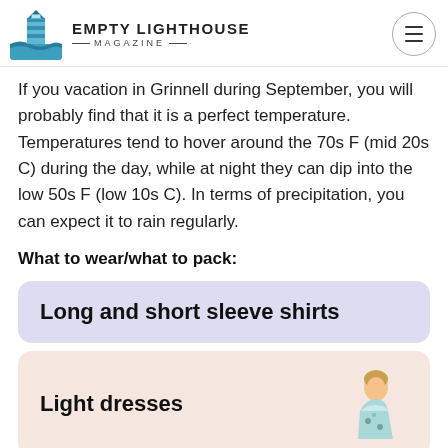EMPTY LIGHTHOUSE MAGAZINE
If you vacation in Grinnell during September, you will probably find that it is a perfect temperature. Temperatures tend to hover around the 70s F (mid 20s C) during the day, while at night they can dip into the low 50s F (low 10s C). In terms of precipitation, you can expect it to rain regularly.
What to wear/what to pack:
Long and short sleeve shirts
Light dresses